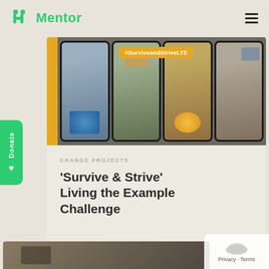Mentor
[Figure (screenshot): Grid of phone screenshots with #SurviveandStriveLTE hashtag banner on yellow background]
CHANGE PROJECTS
'Survive & Strive' Living the Example Challenge
[Figure (photo): Partial photo at bottom of page]
Privacy · Terms